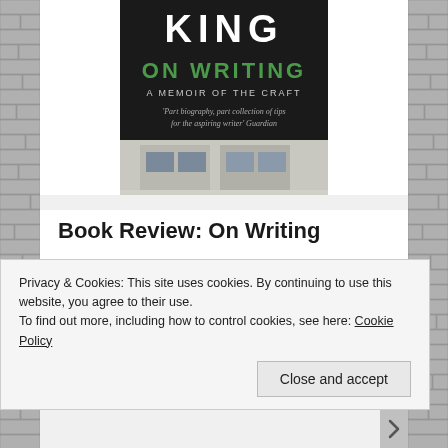[Figure (photo): Book cover of 'On Writing: A Memoir of the Craft' by Stephen King. Black background with 'KING' in large white letters at the top, 'ON WRITING' in green letters, 'A MEMOIR OF THE CRAFT' in white, and a quote: 'Part biography, part collection of tips for the aspiring writer' Guardian. Below is an image of a building facade.]
Book Review: On Writing
I just lurve this book. Not a line Stephen King would condone, but I'm stickin' to my guns. (Another phrase he would edit out because it's cliché.) Then again, this is a blog, where I embrace the conversational and modern tone. On Writing has been on my Favorites list since my first days with
Privacy & Cookies: This site uses cookies. By continuing to use this website, you agree to their use.
To find out more, including how to control cookies, see here: Cookie Policy
Close and accept